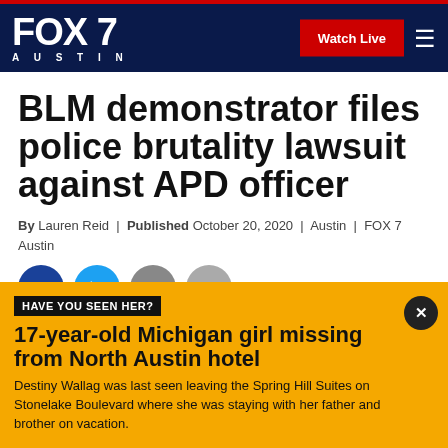FOX 7 AUSTIN | Watch Live
BLM demonstrator files police brutality lawsuit against APD officer
By Lauren Reid | Published October 20, 2020 | Austin | FOX 7 Austin
[Figure (infographic): Social share icons: Facebook, Twitter, Print, Email]
HAVE YOU SEEN HER?
17-year-old Michigan girl missing from North Austin hotel
Destiny Wallag was last seen leaving the Spring Hill Suites on Stonelake Boulevard where she was staying with her father and brother on vacation.